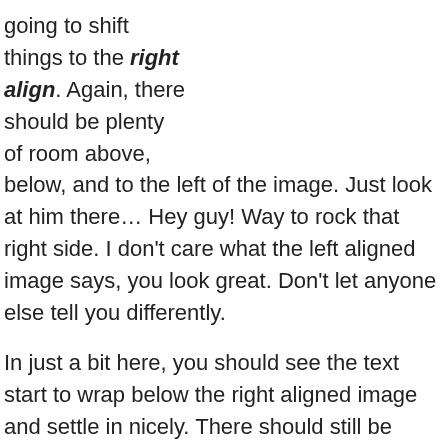going to shift things to the right align. Again, there should be plenty of room above, below, and to the left of the image. Just look at him there… Hey guy! Way to rock that right side. I don't care what the left aligned image says, you look great. Don't let anyone else tell you differently.

In just a bit here, you should see the text start to wrap below the right aligned image and settle in nicely. There should still be plenty of room and everything should be sitting pretty. Yeah… Just like that. It never felt so good to be right.